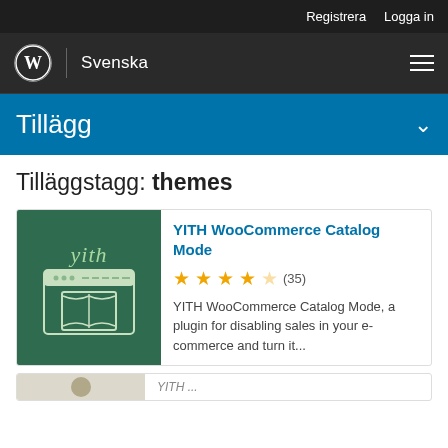Registrera  Logga in
[Figure (logo): WordPress logo circle with W, followed by vertical divider and text 'Svenska', hamburger menu icon on right]
Tillägg
Tilläggstagg: themes
YITH WooCommerce Catalog Mode
★★★★☆ (35)
YITH WooCommerce Catalog Mode, a plugin for disabling sales in your e-commerce and turn it...